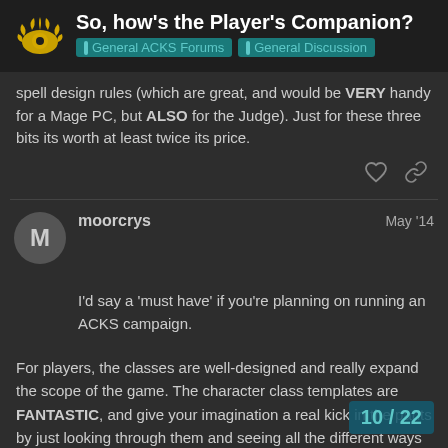So, how's the Player's Companion? | General ACKS Forums | General Discussion
spell design rules (which are great, and would be VERY handy for a Mage PC, but ALSO for the Judge). Just for these three bits its worth at least twice its price.
moorcrys  May '14
I'd say a 'must have' if you're planning on running an ACKS campaign.
For players, the classes are well-designed and really expand the scope of the game. The character class templates are FANTASTIC, and give your imagination a real kick in the pants by just looking through them and seeing all the different ways you can tweak the classes with proficiencies. Also, there are tons of new spells which are very useful, fl functional but streamlined ACKS Core rule
10 / 22